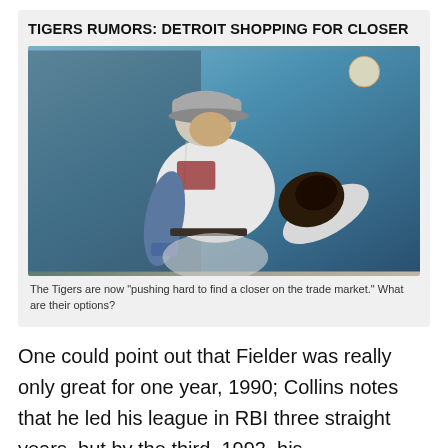TIGERS RUMORS: DETROIT SHOPPING FOR CLOSER
[Figure (photo): Detroit Tigers pitcher in white uniform mid-windup, ball visible in upper right, dark blue/teal background]
The Tigers are now "pushing hard to find a closer on the trade market." What are their options?
One could point out that Fielder was really only great for one year, 1990; Collins notes that he led his league in RBI three straight years, but by the third, 1992, his